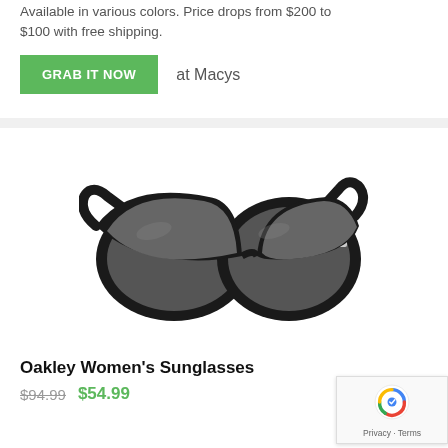Available in various colors. Price drops from $200 to $100 with free shipping.
GRAB IT NOW   at Macys
[Figure (photo): Black Oakley Women's Sunglasses with dark lenses and thick black frames, wayfarer style, shown on white background]
Oakley Women's Sunglasses
$94.99  $54.99